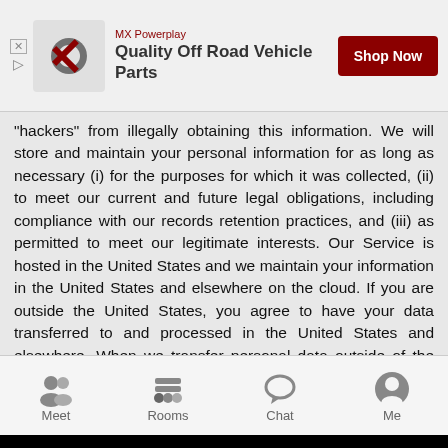[Figure (screenshot): Advertisement banner for MX Powerplay 'Quality Off Road Vehicle Parts' with Shop Now button]
"hackers" from illegally obtaining this information. We will store and maintain your personal information for as long as necessary (i) for the purposes for which it was collected, (ii) to meet our current and future legal obligations, including compliance with our records retention practices, and (iii) as permitted to meet our legitimate interests. Our Service is hosted in the United States and we maintain your information in the United States and elsewhere on the cloud. If you are outside the United States, you agree to have your data transferred to and processed in the United States and elsewhere. When we transfer personal data outside of the European Economic Area, we ensure an adequate level of protection for the rights of data subjects based on the adequacy of the receiving country's data protection laws and contractual obligations placed on the recipient of the data. A copy of these safeguards may be made available by writing to us at the address provided in the Contact Information section below.
[Figure (screenshot): Mobile app navigation bar with Meet, Rooms, Chat, Me icons]